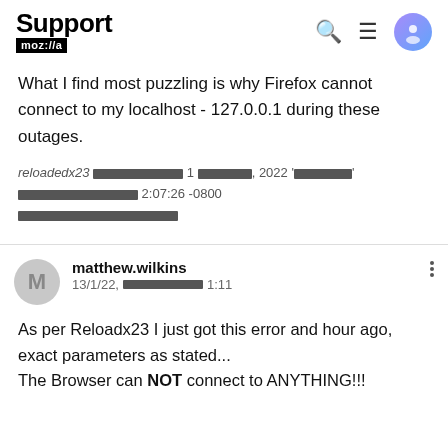Support mozilla
What I find most puzzling is why Firefox cannot connect to my localhost - 127.0.0.1 during these outages.
reloadedx23 [redacted] 1 [redacted], 2022 '[redacted]' [redacted] 2:07:26 -0800 [redacted]
matthew.wilkins
13/1/22, [redacted] 1:11

As per Reloadx23 I just got this error and hour ago, exact parameters as stated...
The Browser can NOT connect to ANYTHING!!!